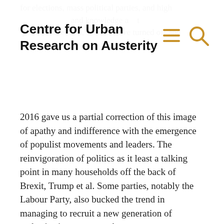Centre for Urban Research on Austerity
for elections, mass political parties, and high political attention, seem to have turned off and tuned out.
2016 gave us a partial correction of this image of apathy and indifference with the emergence of populist movements and leaders. The reinvigoration of politics as it least a talking point in many households off the back of Brexit, Trump et al. Some parties, notably the Labour Party, also bucked the trend in managing to recruit a new generation of enthusiastic young members.
Yet political scientists remain gloomy about the overall trend. Many note the lack of engagement in for example sub and supranational elections. Others note the “easy come, easy go” nature of our political